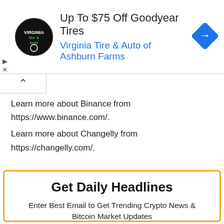[Figure (infographic): Advertisement banner: Virginia Tire & Auto logo (circular badge), heading 'Up To $75 Off Goodyear Tires', subheading 'Virginia Tire & Auto of Ashburn Farms', blue navigation icon on right, ad controls (play/close) on left]
Learn more about Binance from https://www.binance.com/.
Learn more about Changelly from https://changelly.com/.
Get Daily Headlines
Enter Best Email to Get Trending Crypto News & Bitcoin Market Updates
Place Your E-mail Here